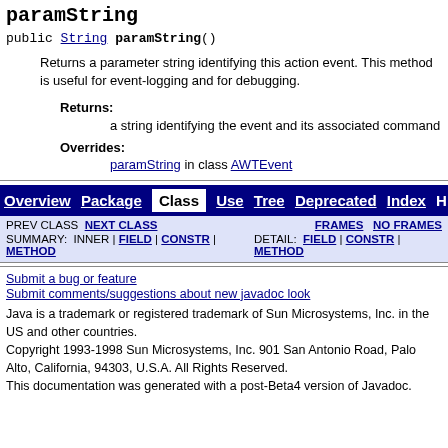paramString
public String paramString()
Returns a parameter string identifying this action event. This method is useful for event-logging and for debugging.
Returns:
a string identifying the event and its associated command
Overrides:
paramString in class AWTEvent
Overview | Package | Class | Use | Tree | Deprecated | Index | H
PREV CLASS  NEXT CLASS    FRAMES  NO FRAMES
SUMMARY: INNER | FIELD | CONSTR | METHOD    DETAIL: FIELD | CONSTR | METHOD
Submit a bug or feature
Submit comments/suggestions about new javadoc look
Java is a trademark or registered trademark of Sun Microsystems, Inc. in the US and other countries.
Copyright 1993-1998 Sun Microsystems, Inc. 901 San Antonio Road, Palo Alto, California, 94303, U.S.A. All Rights Reserved.
This documentation was generated with a post-Beta4 version of Javadoc.